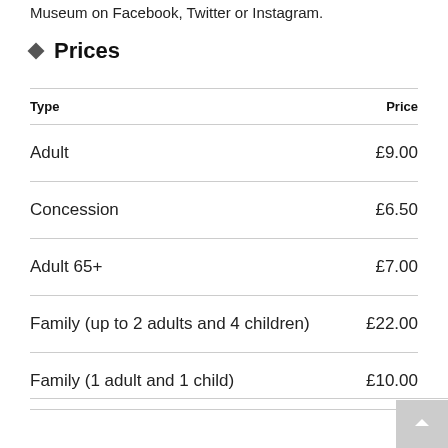Museum on Facebook, Twitter or Instagram.
Prices
| Type | Price |
| --- | --- |
| Adult | £9.00 |
| Concession | £6.50 |
| Adult 65+ | £7.00 |
| Family (up to 2 adults and 4 children) | £22.00 |
| Family (1 adult and 1 child) | £10.00 |